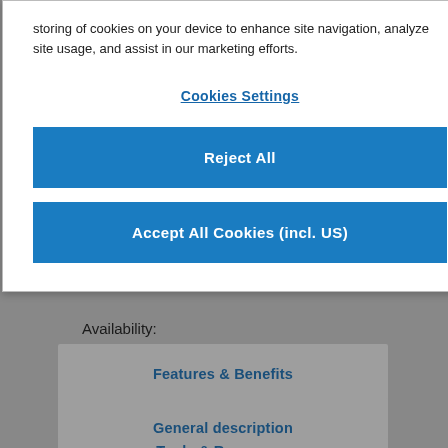storing of cookies on your device to enhance site navigation, analyze site usage, and assist in our marketing efforts.
Cookies Settings
Reject All
Accept All Cookies (incl. US)
Availability:
Features & Benefits
General description
Tools & Resources